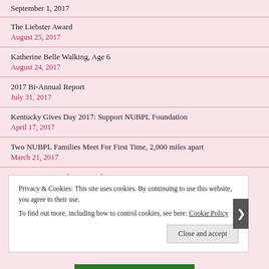September 1, 2017
The Liebster Award
August 25, 2017
Katherine Belle Walking, Age 6
August 24, 2017
2017 Bi-Annual Report
July 31, 2017
Kentucky Gives Day 2017: Support NUBPL Foundation
April 17, 2017
Two NUBPL Families Meet For First Time, 2,000 miles apart
March 21, 2017
1st NUBPL Foundation Fundraiser
M...
Privacy & Cookies: This site uses cookies. By continuing to use this website, you agree to their use.
To find out more, including how to control cookies, see here: Cookie Policy